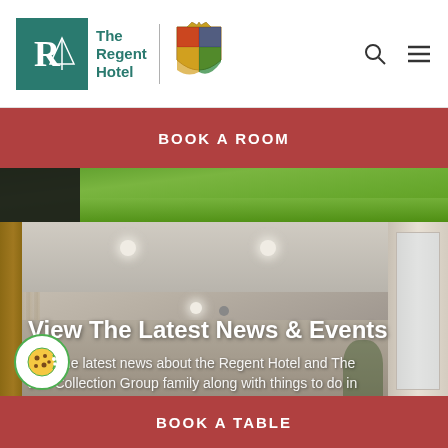[Figure (logo): The Regent Hotel logo with teal R in a box, text 'The Regent Hotel', a divider, and a crest/coat of arms]
BOOK A ROOM
[Figure (photo): Outdoor green grass hillside with dark shadowed area on left]
[Figure (photo): Interior hotel room/lounge with ceiling spotlights, wooden door frame on left, curtains and window on right, smoke detector on ceiling]
View The Latest News & Events
Find the latest news about the Regent Hotel and The Jon Collection Group family along with things to do in
BOOK A TABLE
[Figure (other): Cookie consent circular button with cookie icon in green border]